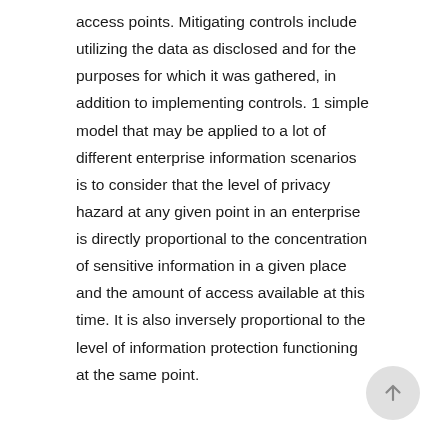access points. Mitigating controls include utilizing the data as disclosed and for the purposes for which it was gathered, in addition to implementing controls. 1 simple model that may be applied to a lot of different enterprise information scenarios is to consider that the level of privacy hazard at any given point in an enterprise is directly proportional to the concentration of sensitive information in a given place and the amount of access available at this time. It is also inversely proportional to the level of information protection functioning at the same point.